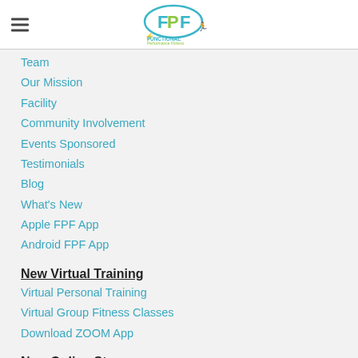FPF Functional Performance Fitness logo with hamburger menu
Team
Our Mission
Facility
Community Involvement
Events Sponsored
Testimonials
Blog
What's New
Apple FPF App
Android FPF App
New Virtual Training
Virtual Personal Training
Virtual Group Fitness Classes
Download ZOOM App
New Online Store